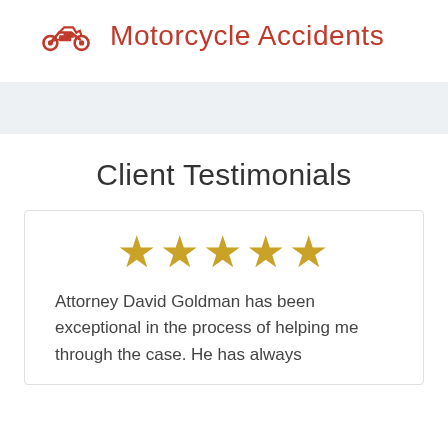Motorcycle Accidents
Client Testimonials
Attorney David Goldman has been exceptional in the process of helping me through the case. He has always